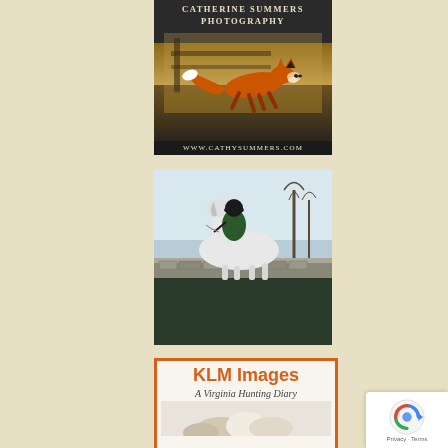[Figure (photo): Catherine Summers Photography advertisement showing a red fox running, with text 'CATHERINE SUMMERS PHOTOGRAPHY' at top and 'www.CathySummers.com' at bottom]
[Figure (photo): Book advertisement showing a rider on a white horse jumping a stone wall, with text 'The Irish Hunter and other titles by Noel Mullins']
[Figure (photo): KLM Images advertisement with orange border showing 'KLM Images' title and 'A Virginia Hunting Diary' subtitle with partial image of hunting dogs]
[Figure (other): Google reCAPTCHA badge with Privacy and Terms links]